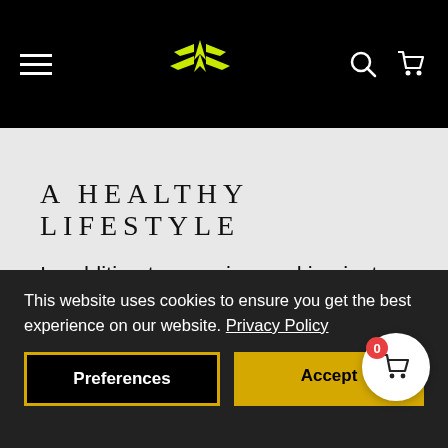Navigation bar with hamburger menu, logo, search and cart icons
A HEALTHY LIFESTYLE
In addition to exercise, making just a few other changes in your life can help keep you healthy, as
Watch less TV or spend less time playing
This website uses cookies to ensure you get the best experience on our website. Privacy Policy
Preferences
Accept